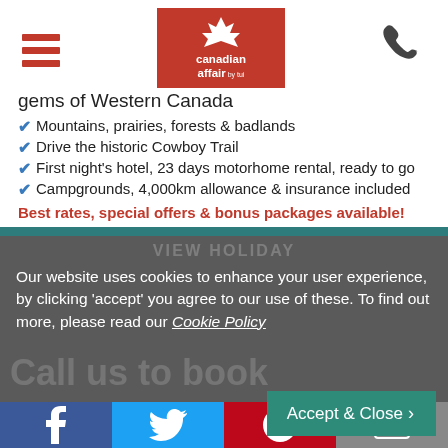[Figure (screenshot): Canadian Affair logo with maple leaf on red background]
gems of Western Canada
Mountains, prairies, forests & badlands
Drive the historic Cowboy Trail
First night's hotel, 23 days motorhome rental, ready to go
Campgrounds, 4,000km allowance & insurance included
Best rates, special offers & bonus packages available!
VIEW HOLIDAY
Our website uses cookies to enhance your user experience, by clicking ‘accept’ you agree to our use of these. To find out more, please read our Cookie Policy
Call us to book
Accept & Close >